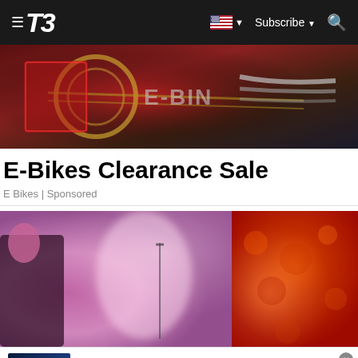T3 — Subscribe
[Figure (photo): Close-up photo of an e-bike drivetrain/components with red and dark tones]
E-Bikes Clearance Sale
E Bikes | Sponsored
[Figure (photo): Two blurred images side by side: left shows pink/purple concert or event scene, right shows red/orange textured background]
[Figure (photo): Advertisement banner: Nuance dragon software customer care — visit nuancesupport.com/ to learn more — www.nuancesupport.com]